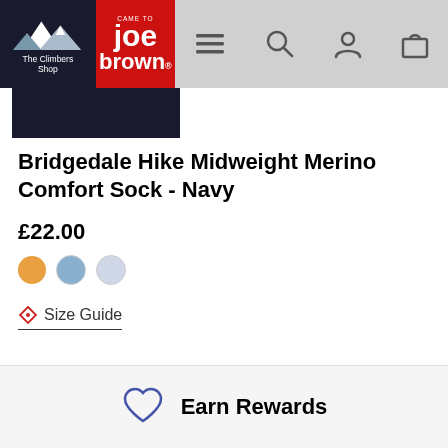The Climbers Shop / Joe Brown
[Figure (screenshot): Partial product image - dark navy background, cropped at top]
Bridgedale Hike Midweight Merino Comfort Sock - Navy
£22.00
[Figure (other): Three color swatches: orange, blue/grey, light blue]
Size Guide
Earn  Rewards